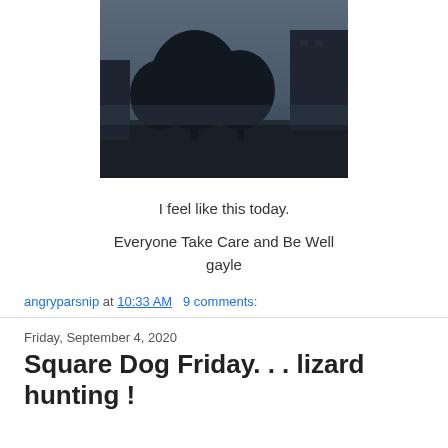[Figure (photo): Dark nighttime/dusk outdoor photo showing silhouettes of trees and a building against a dim grayish-blue sky]
I feel like this today.
Everyone Take Care and Be Well
gayle
angryparsnip at 10:33 AM   9 comments:
Friday, September 4, 2020
Square Dog Friday. . . lizard hunting !